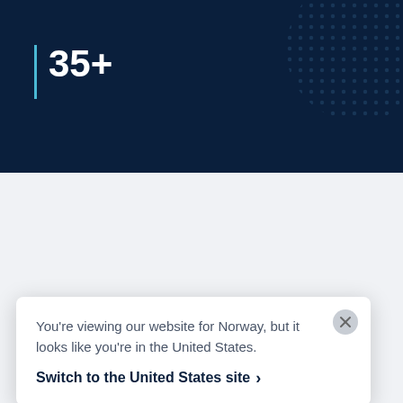[Figure (screenshot): Dark navy blue background section with dot/texture pattern in upper right corner]
35+
[Figure (screenshot): Light grey section below the dark banner, partially showing page content]
You're viewing our website for Norway, but it looks like you're in the United States.
Switch to the United States site ›